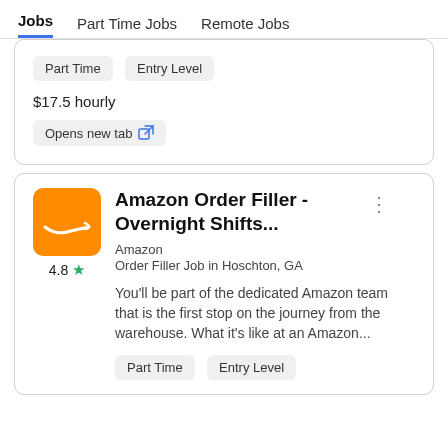Jobs  Part Time Jobs  Remote Jobs
Part Time   Entry Level
$17.5 hourly
Opens new tab
Amazon Order Filler - Overnight Shifts...
Amazon
Order Filler Job in Hoschton, GA
You'll be part of the dedicated Amazon team that is the first stop on the journey from the warehouse. What it's like at an Amazon...
Part Time   Entry Level